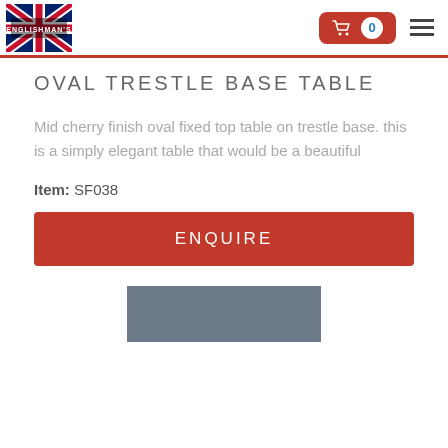[Figure (logo): Englishman's shop logo with UK flag and brand name]
OVAL TRESTLE BASE TABLE
Mid cherry finish oval fixed top table on trestle base. this is a simply elegant table that would be a beautiful
Item: SF038
ENQUIRE
[Figure (photo): Partial product photo showing a dark grey/blue tabletop]